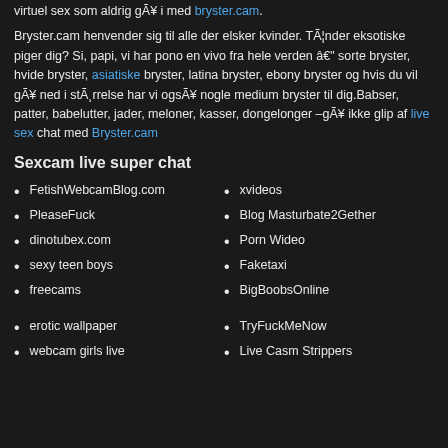virtuel sex som aldrig gå i med bryster.cam.
Bryster.cam henvender sig til alle der elsker kvinder. Tænder eksotiske piger dig? Si, papi, vi har pono en vivo fra hele verden – sorte bryster, hvide bryster, asiatiske bryster, latina bryster, ebony bryster og hvis du vil gå ned i størrelse har vi også nogle medium bryster til dig.Babser, patter, babelutter, jader, meloner, kasser, dongelonger –gå ikke glip af live sex chat med Bryster.cam
Sexcam live super chat
FetishWebcamBlog.com
PleaseFuck
dinotubex.com
sexy teen boys
freecams
xvideos
Blog Masturbate2Gether
Porn Wideo
Faketaxi
BigBoobsOnline
erotic wallpaper
webcam girls live
TryFuckMeNow
Live Casm Strippers